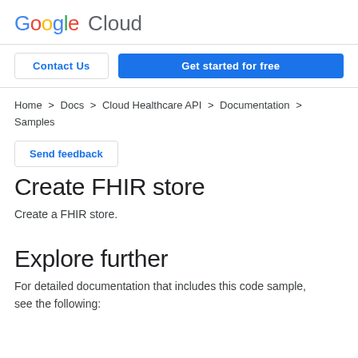Google Cloud
Contact Us   Get started for free
Home > Docs > Cloud Healthcare API > Documentation > Samples
Send feedback
Create FHIR store
Create a FHIR store.
Explore further
For detailed documentation that includes this code sample, see the following: